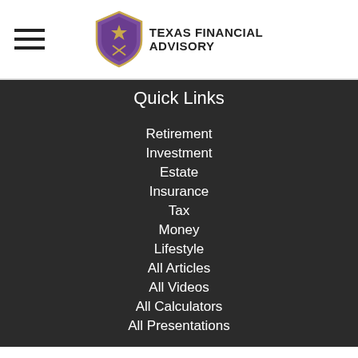Texas Financial Advisory
Quick Links
Retirement
Investment
Estate
Insurance
Tax
Money
Lifestyle
All Articles
All Videos
All Calculators
All Presentations
Check the background of your financial professional on FINRA's BrokerCheck.
The content is developed from sources believed to be providing accurate information. The information in this material is not intended as tax or legal advice. Please consult legal or tax professionals for specific information regarding your individual situation. Some of this material was developed and produced by FMG Suite to provide information on a topic that may be of interest. FMG Suite is not affiliated with the named representative, broker - dealer, state - or SEC-registered